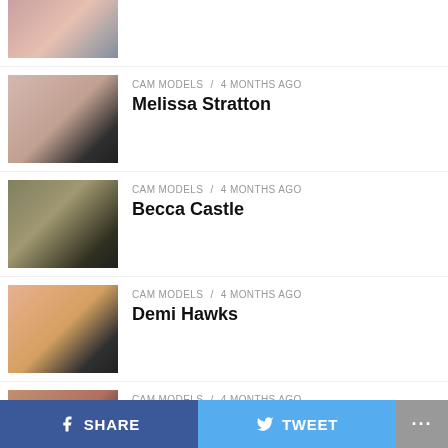CAM MODELS / 4 months ago — Melissa Stratton
CAM MODELS / 4 months ago — Becca Castle
CAM MODELS / 4 months ago — Demi Hawks
CAM MODELS / 4 months ago — LeaThompson01
SHARE  TWEET  ...